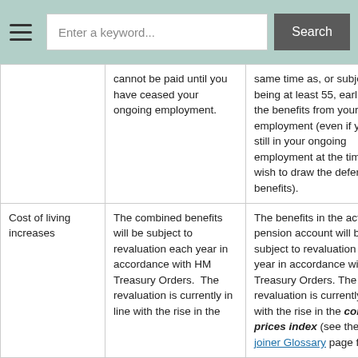Enter a keyword... Search
|  | cannot be paid until you have ceased your ongoing employment. | same time as, or subject to being at least 55, earlier than the benefits from your ongoing employment (even if you are still in your ongoing employment at the time you wish to draw the deferred benefits). |
| Cost of living increases | The combined benefits will be subject to revaluation each year in accordance with HM Treasury Orders. The revaluation is currently in line with the rise in the | The benefits in the active pension account will be subject to revaluation each year in accordance with HM Treasury Orders. The revaluation is currently in line with the rise in the consumer prices index (see the Re-joiner Glossary page for |